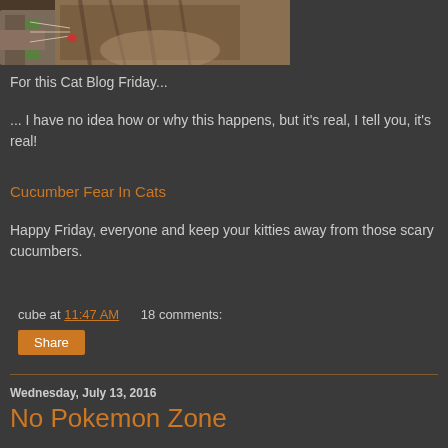[Figure (photo): Partial photo of a cat with a cucumber, cropped at top]
For this Cat Blog Friday...
... I have no idea how or why this happens, but it's real, I tell you, it's real!
Cucumber Fear In Cats
Happy Friday, everyone and keep your kitties away from those scary cucumbers.
cube at 11:47 AM    18 comments:
Share
Wednesday, July 13, 2016
No Pokemon Zone